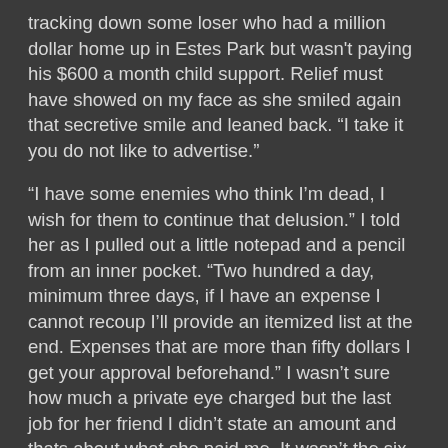tracking down some loser who had a million dollar home up in Estes Park but wasn't paying his $600 a month child support. Relief must have showed on my face as she smiled again that secretive smile and leaned back. “I take it you do not like to advertise.”
“I have some enemies who think I’m dead, I wish for them to continue that delusion.” I told her as I pulled out a little notepad and a pencil from an inner pocket. “Two hundred a day, minimum three days, if I have an expense I cannot recoup I’ll provide an itemized list at the end. Expenses that are more than fifty dollars I get your approval beforehand.” I wasn’t sure how much a private eye charged but the last job for her friend I didn’t state an amount and thats about what she paid me. It wasn’t the six figured I used to make as a driller but it was better than the current jobs around.
“Agreed, I can’t meet you here again though, and I can’t have you call my cell. My husband Sergei Tsepov is a good man but a little protective of me.” Her voice lowered as she said her husbands name. I almost missed it and was silent for a minute as my brain started processing the information.